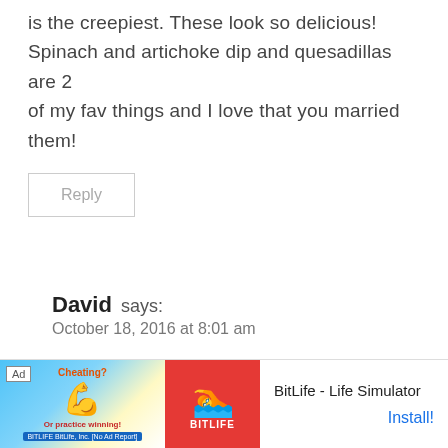is the creepiest. These look so delicious! Spinach and artichoke dip and quesadillas are 2 of my fav things and I love that you married them!
Reply
David says:
October 18, 2016 at 8:01 am
Yeah, more than one friend who has come over...hair. I act...how
[Figure (screenshot): Advertisement banner for BitLife - Life Simulator app with Ad label, muscle emoji graphic on blue/yellow background, red BitLife logo with sperm icon, app name text and Install! button]